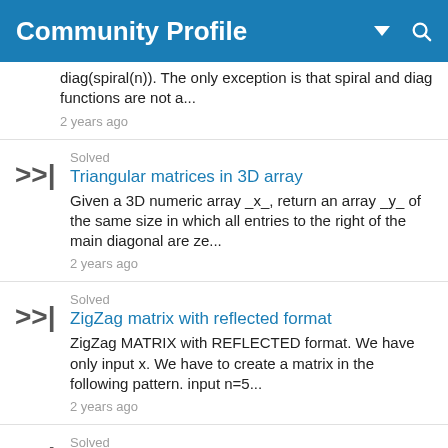Community Profile
diag(spiral(n)). The only exception is that spiral and diag functions are not a...
2 years ago
Solved
Triangular matrices in 3D array
Given a 3D numeric array _x_, return an array _y_ of the same size in which all entries to the right of the main diagonal are ze...
2 years ago
Solved
ZigZag matrix with reflected format
ZigZag MATRIX with REFLECTED format. We have only input x. We have to create a matrix in the following pattern. input n=5...
2 years ago
Solved